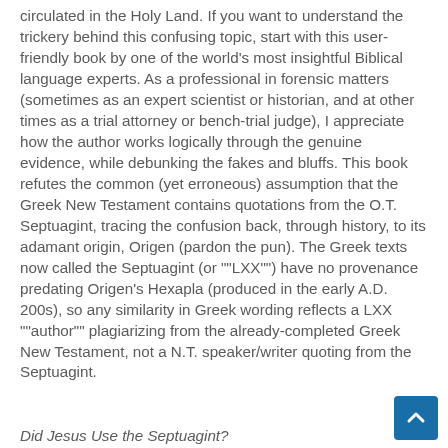circulated in the Holy Land. If you want to understand the trickery behind this confusing topic, start with this user-friendly book by one of the world's most insightful Biblical language experts. As a professional in forensic matters (sometimes as an expert scientist or historian, and at other times as a trial attorney or bench-trial judge), I appreciate how the author works logically through the genuine evidence, while debunking the fakes and bluffs. This book refutes the common (yet erroneous) assumption that the Greek New Testament contains quotations from the O.T. Septuagint, tracing the confusion back, through history, to its adamant origin, Origen (pardon the pun). The Greek texts now called the Septuagint (or ""LXX"") have no provenance predating Origen's Hexapla (produced in the early A.D. 200s), so any similarity in Greek wording reflects a LXX ""author"" plagiarizing from the already-completed Greek New Testament, not a N.T. speaker/writer quoting from the Septuagint.
Did Jesus Use the Septuagint?